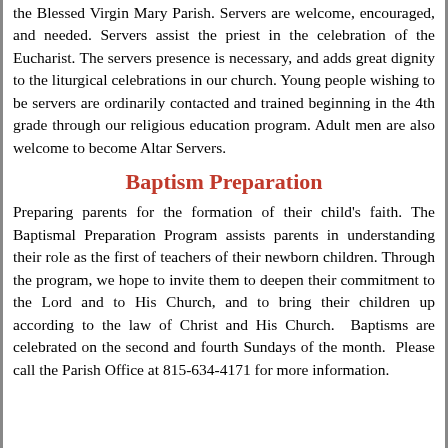the Blessed Virgin Mary Parish. Servers are welcome, encouraged, and needed. Servers assist the priest in the celebration of the Eucharist. The servers presence is necessary, and adds great dignity to the liturgical celebrations in our church. Young people wishing to be servers are ordinarily contacted and trained beginning in the 4th grade through our religious education program. Adult men are also welcome to become Altar Servers.
Baptism Preparation
Preparing parents for the formation of their child's faith. The Baptismal Preparation Program assists parents in understanding their role as the first of teachers of their newborn children. Through the program, we hope to invite them to deepen their commitment to the Lord and to His Church, and to bring their children up according to the law of Christ and His Church.  Baptisms are celebrated on the second and fourth Sundays of the month.  Please call the Parish Office at 815-634-4171 for more information.